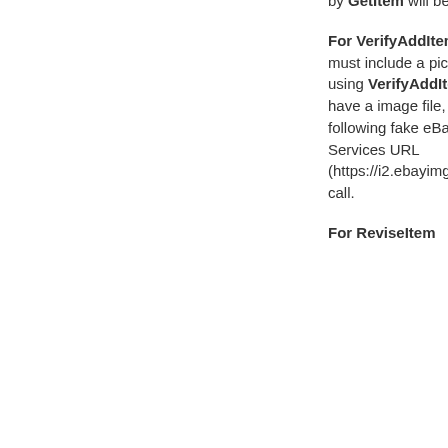by GetItem will be an EPS URL.
For VerifyAddItem only: You must include a picture even when using VerifyAddItem. If you don't have a image file, you can use the following fake eBay Picture Services URL (https://i2.ebayimg.co... with this call.
For ReviseItem